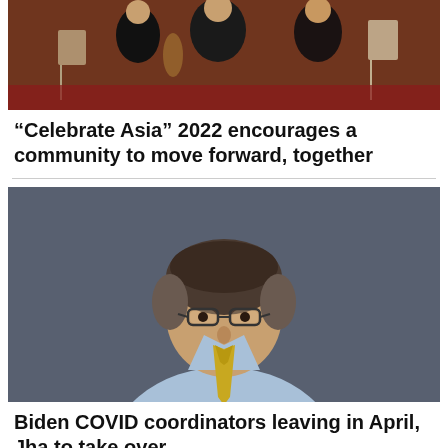[Figure (photo): Partial orchestra performance photo showing musicians on stage]
“Celebrate Asia” 2022 encourages a community to move forward, together
[Figure (photo): Portrait of a man with glasses, wearing a light blue shirt and gold tie, against a grey background]
Biden COVID coordinators leaving in April, Jha to take over
[Figure (photo): Partial image at bottom of page, partially visible]